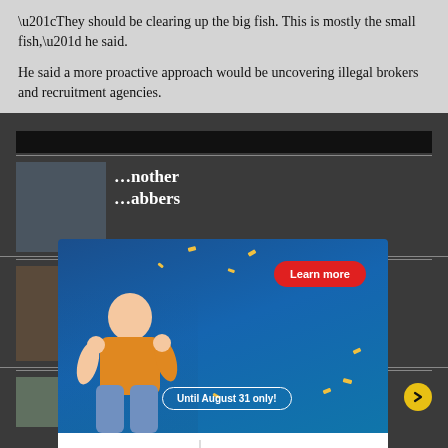“They should be clearing up the big fish. This is mostly the small fish,” he said.
He said a more proactive approach would be uncovering illegal brokers and recruitment agencies.
[Figure (screenshot): Advertisement overlay for ABA National Bank of Canada Group with a woman in yellow sweater, a red 'Learn more' button, and text 'Until August 31 only!']
...nother ...bbers
...gins
Australian Pfizer vaccine